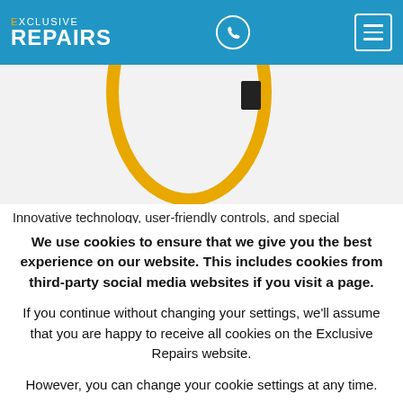EXCLUSIVE REPAIRS
[Figure (illustration): Partial view of a gold/yellow oval shape illustration with a small black rectangle, on a light background]
Innovative technology, user-friendly controls, and special
We use cookies to ensure that we give you the best experience on our website. This includes cookies from third-party social media websites if you visit a page.
If you continue without changing your settings, we'll assume that you are happy to receive all cookies on the Exclusive Repairs website.
However, you can change your cookie settings at any time.